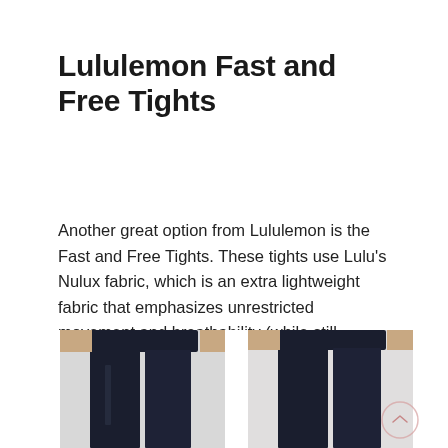Lululemon Fast and Free Tights
Another great option from Lululemon is the Fast and Free Tights. These tights use Lulu's Nulux fabric, which is an extra lightweight fabric that emphasizes unrestricted movement and breathability (while still passing the squat test!).
[Figure (photo): Two side-by-side product photos of Lululemon Fast and Free Tights, showing a model wearing dark navy/black tights from the front-left and back views, cropped at waist to knee level.]